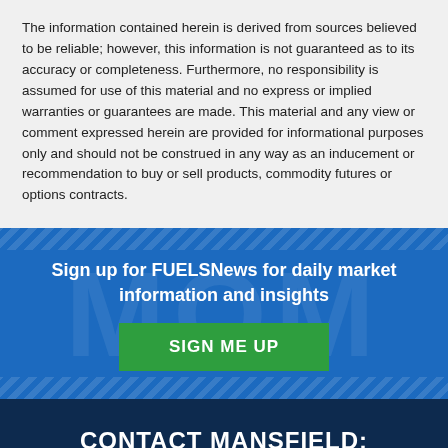The information contained herein is derived from sources believed to be reliable; however, this information is not guaranteed as to its accuracy or completeness. Furthermore, no responsibility is assumed for use of this material and no express or implied warranties or guarantees are made. This material and any view or comment expressed herein are provided for informational purposes only and should not be construed in any way as an inducement or recommendation to buy or sell products, commodity futures or options contracts.
Sign up for FUELSNews for daily market information and insights
SIGN ME UP
CONTACT MANSFIELD: 800.695.6626